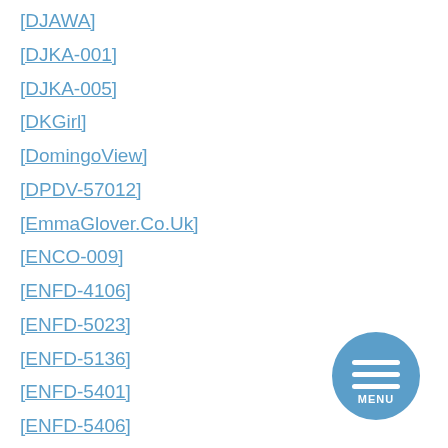[DJAWA]
[DJKA-001]
[DJKA-005]
[DKGirl]
[DomingoView]
[DPDV-57012]
[EmmaGlover.Co.Uk]
[ENCO-009]
[ENFD-4106]
[ENFD-5023]
[ENFD-5136]
[ENFD-5401]
[ENFD-5406]
[Figure (other): Circular blue menu button with three horizontal white lines and MENU text label]